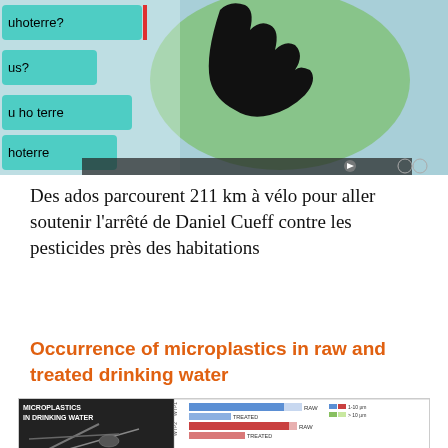[Figure (photo): Screenshot of a website or video showing a globe or earth image with colored menu buttons on the left side reading partial French text (uhoterre?, us?, u ho terre, hoterre) and a hand silhouette against green and blue background.]
Des ados parcourent 211 km à vélo pour aller soutenir l'arrêté de Daniel Cueff contre les pesticides près des habitations
Occurrence of microplastics in raw and treated drinking water
[Figure (bar-chart): Horizontal grouped bar chart showing microplastics concentration (L-1) for WTP1, WTP2, WTP3, each with RAW and TREATED bars. Left side shows SEM image of microplastic fibers. Legend: WTP = Water Treatment Plant; blue/pink = 1-10 µm; green/light green = >10 µm. X-axis: 0, 2000, 4000 MICROPLASTICS L-1.]